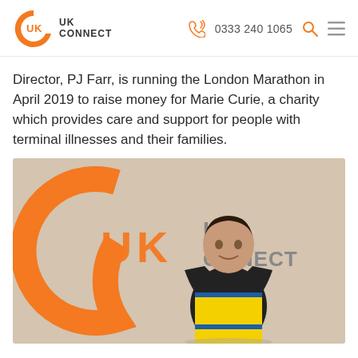UK CONNECT | 0333 240 1065
Director, PJ Farr, is running the London Marathon in April 2019 to raise money for Marie Curie, a charity which provides care and support for people with terminal illnesses and their families.
[Figure (photo): A man wearing a yellow and blue running vest standing in front of a UK Connect logo on a wall]